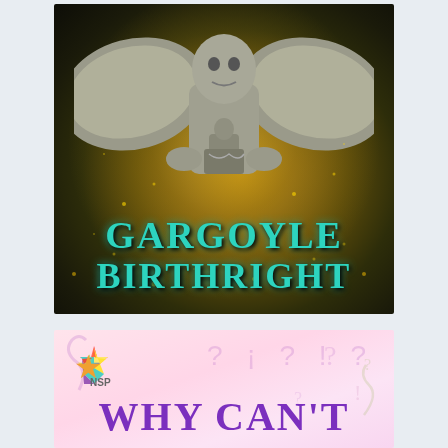[Figure (illustration): Book cover for 'Gargoyle Birthright' featuring a stone gargoyle statue against a dark golden/brown textured background. The title 'GARGOYLE BIRTHRIGHT' is displayed in large teal/turquoise text at the bottom of the cover.]
[Figure (illustration): Partial book cover with pink/pastel background showing question marks and exclamation points. An NSP star logo is visible in the top left. The text 'WHY CAN'T' is partially visible at the bottom in purple text.]